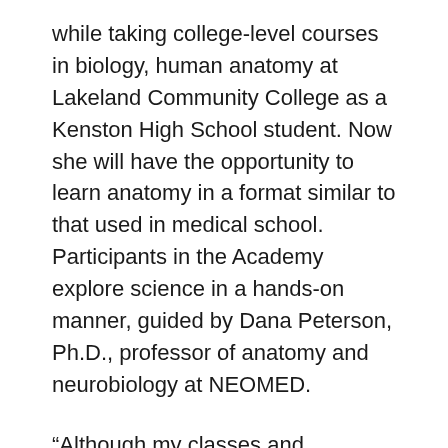while taking college-level courses in biology, human anatomy at Lakeland Community College as a Kenston High School student. Now she will have the opportunity to learn anatomy in a format similar to that used in medical school. Participants in the Academy explore science in a hands-on manner, guided by Dana Peterson, Ph.D., professor of anatomy and neurobiology at NEOMED.
“Although my classes and dissections intellectually prepared me for my next step in college, I believe the Anatomy Academy offered at NEOMED would greatly benefit my future education and better prepare me in understanding and overcoming the challenges